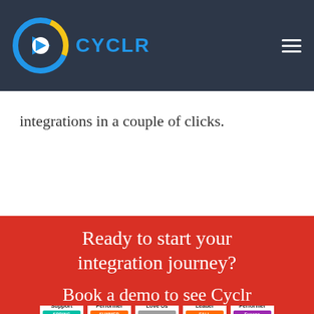[Figure (logo): Cyclr logo: circular C icon in blue and yellow with CYCLR text in blue]
integrations in a couple of clicks.
Ready to start your integration journey?
[Figure (infographic): Five G2 badges: Best Support Spring 2021, High Performer Summer 2021, Users Love Us, Momentum Leader Fall 2021, High Performer Europe Winter 2022]
Book a demo to see Cyclr